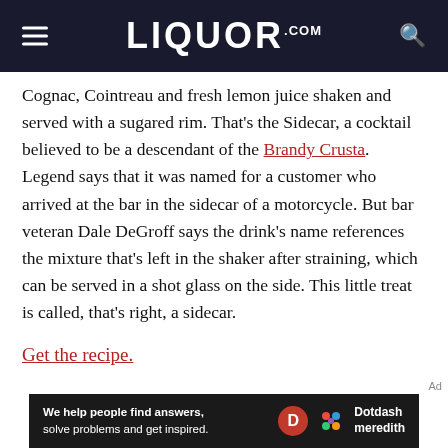LIQUOR.COM
Cognac, Cointreau and fresh lemon juice shaken and served with a sugared rim. That’s the Sidecar, a cocktail believed to be a descendant of the Brandy Crusta. Legend says that it was named for a customer who arrived at the bar in the sidecar of a motorcycle. But bar veteran Dale DeGroff says the drink’s name references the mixture that’s left in the shaker after straining, which can be served in a shot glass on the side. This little treat is called, that’s right, a sidecar.
Get the recipe.
[Figure (other): Dotdash Meredith advertisement banner: 'We help people find answers, solve problems and get inspired.' with Dotdash Meredith logo]